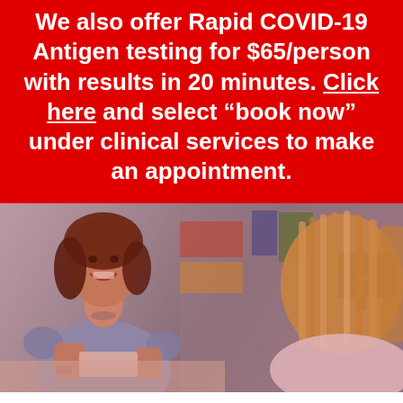We also offer Rapid COVID-19 Antigen testing for $65/person with results in 20 minutes. Click here and select “book now” under clinical services to make an appointment.
[Figure (photo): A smiling female pharmacy employee in a light blue top handing something (possibly a package or medication) to a customer across a counter. Store shelves and an Acer computer monitor are visible in the background. The image has a red color overlay tint.]
Carman Drugs